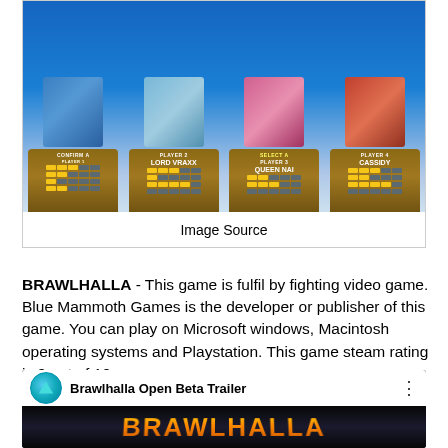[Figure (screenshot): Brawlhalla game character selection screen showing four characters on podiums: Player 1 (confirm), Player 2 Lord Vraxx, Player 3 Queen Nai (select), Player 4 Cassidy]
Image Source
BRAWLHALLA -  This game is fulfil by fighting video game. Blue Mammoth Games  is the developer or publisher of this game. You can play on Microsoft windows, Macintosh operating systems and Playstation. This game steam rating is 9 out of 10.
[Figure (screenshot): Brawlhalla Open Beta Trailer video thumbnail showing the Brawlhalla logo in gold/orange text on a dark background, with the Brawlhalla channel logo and video title]